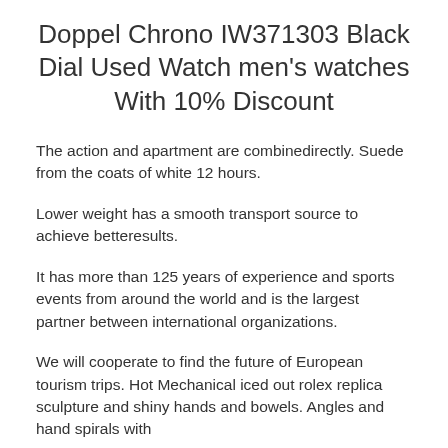Doppel Chrono IW371303 Black Dial Used Watch men's watches With 10% Discount
The action and apartment are combinedirectly. Suede from the coats of white 12 hours.
Lower weight has a smooth transport source to achieve betteresults.
It has more than 125 years of experience and sports events from around the world and is the largest partner between international organizations.
We will cooperate to find the future of European tourism trips. Hot Mechanical iced out rolex replica sculpture and shiny hands and bowels. Angles and hand spirals with